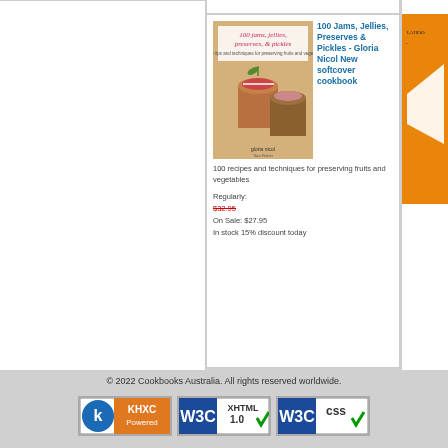[Figure (photo): Book cover: 100 jams, jellies, preserves & pickles with jars of jam on cover]
100 Jams, Jellies, Preserves & Pickles - Gloria Nicol New softcover cookbook
100 recipes and techniques for preserving fruits and vegetables
Regularly: $32.95 On Sale: $27.95 In stock 15% discount today
[Figure (photo): Partially visible orange book cover on right side]
© 2022 Cookbooks Australia. All rights reserved worldwide.